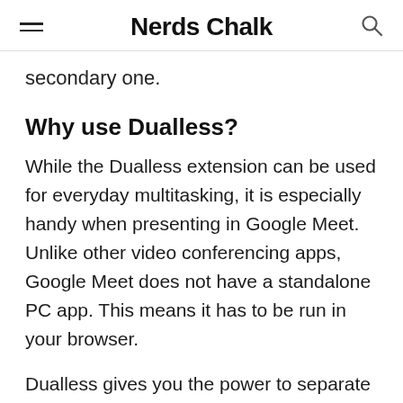Nerds Chalk
secondary one.
Why use Dualless?
While the Dualless extension can be used for everyday multitasking, it is especially handy when presenting in Google Meet. Unlike other video conferencing apps, Google Meet does not have a standalone PC app. This means it has to be run in your browser.
Dualless gives you the power to separate your Meet windows from your content